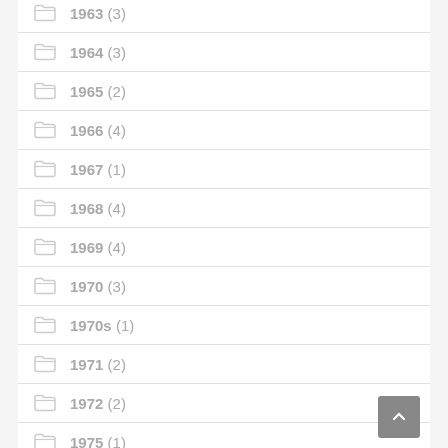1964 (3)
1965 (2)
1966 (4)
1967 (1)
1968 (4)
1969 (4)
1970 (3)
1970s (1)
1971 (2)
1972 (2)
1975 (1)